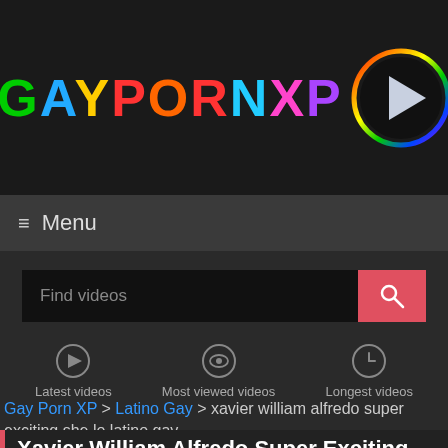[Figure (logo): GAYPORNXP logo with rainbow-colored letters and a play button circle with rainbow border]
≡ Menu
Find videos
Latest videos | Most viewed videos | Longest videos
Gay Porn XP > Latino Gay > xavier william alfredo super exciting she lo latino gay
Xavier William Alfredo Super Exciting She Lo Latino Gay